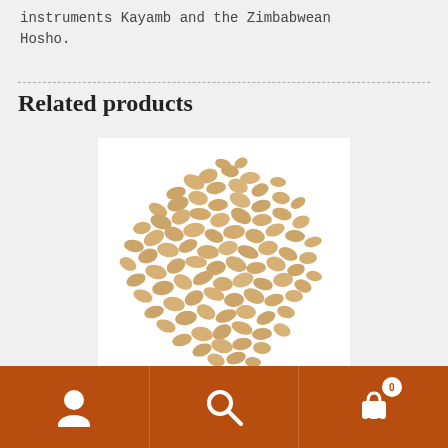instruments Kayamb and the Zimbabwean Hosho.
Related products
[Figure (photo): A pile of small, flat, tan/beige colored seeds or beans arranged in a mounded heap on a white background.]
Navigation bar with user icon, search icon, and cart icon (badge showing 0)